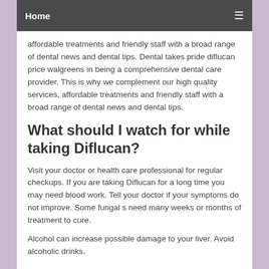Home ☰
affordable treatments and friendly staff with a broad range of dental news and dental tips. Dental takes pride diflucan price walgreens in being a comprehensive dental care provider. This is why we complement our high quality services, affordable treatments and friendly staff with a broad range of dental news and dental tips.
What should I watch for while taking Diflucan?
Visit your doctor or health care professional for regular checkups. If you are taking Diflucan for a long time you may need blood work. Tell your doctor if your symptoms do not improve. Some fungal s need many weeks or months of treatment to cure.
Alcohol can increase possible damage to your liver. Avoid alcoholic drinks.